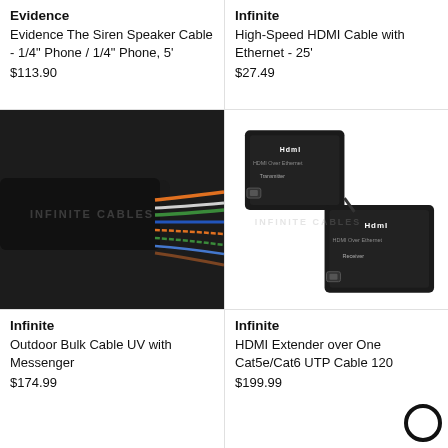Evidence
Evidence The Siren Speaker Cable - 1/4" Phone / 1/4" Phone, 5'
$113.90
Infinite
High-Speed HDMI Cable with Ethernet - 25'
$27.49
[Figure (photo): Outdoor bulk cable with colored wires exposed, showing multiple wire strands with orange, green, blue and white coloring against a dark jacket.]
[Figure (photo): Two black HDMI over Ethernet extender boxes (transmitter and receiver) with HDMI branding and port connections.]
Infinite
Outdoor Bulk Cable UV with Messenger
$174.99
Infinite
HDMI Extender over One Cat5e/Cat6 UTP Cable 120
$199.99